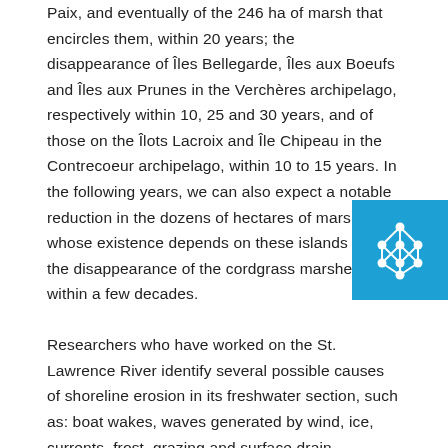Paix, and eventually of the 246 ha of marsh that encircles them, within 20 years; the disappearance of Îles Bellegarde, Îles aux Boeufs and Îles aux Prunes in the Verchères archipelago, respectively within 10, 25 and 30 years, and of those on the Îlots Lacroix and Île Chipeau in the Contrecoeur archipelago, within 10 to 15 years. In the following years, we can also expect a notable reduction in the dozens of hectares of marshes whose existence depends on these islands and the disappearance of the cordgrass marshes within a few decades.

Researchers who have worked on the St. Lawrence River identify several possible causes of shoreline erosion in its freshwater section, such as: boat wakes, waves generated by wind, ice, currents, frost, grazing and surface drainage (Department of Public Works 1968; Ouellet and Baird-D'Agnolo 1978; Panasuk 1987; Dauphin and Lehoux 2004). Erosion can be further intensified by particularly high water levels, steep banks, exposure to dominant winds, a lack of
[Figure (logo): Light blue square with a white diamond/rhombus grid pattern logo in the bottom-right corner of the page]